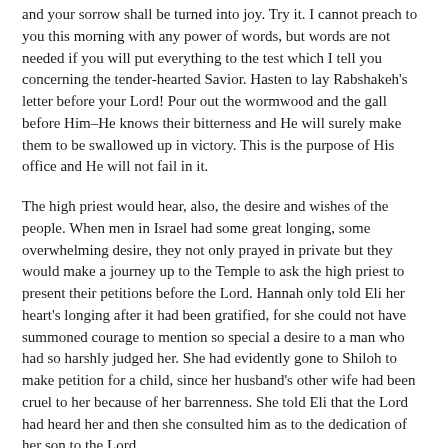and your sorrow shall be turned into joy. Try it. I cannot preach to you this morning with any power of words, but words are not needed if you will put everything to the test which I tell you concerning the tender-hearted Savior. Hasten to lay Rabshakeh's letter before your Lord! Pour out the wormwood and the gall before Him–He knows their bitterness and He will surely make them to be swallowed up in victory. This is the purpose of His office and He will not fail in it.
The high priest would hear, also, the desire and wishes of the people. When men in Israel had some great longing, some overwhelming desire, they not only prayed in private but they would make a journey up to the Temple to ask the high priest to present their petitions before the Lord. Hannah only told Eli her heart's longing after it had been gratified, for she could not have summoned courage to mention so special a desire to a man who had so harshly judged her. She had evidently gone to Shiloh to make petition for a child, since her husband's other wife had been cruel to her because of her barrenness. She told Eli that the Lord had heard her and then she consulted him as to the dedication of her son to the Lord.
My Friend, you may have some very peculiar, delicate desire as to spiritual things that only God and your own soul may know, but fear not to mention it to your tender High Priest who will know your meaning and deal